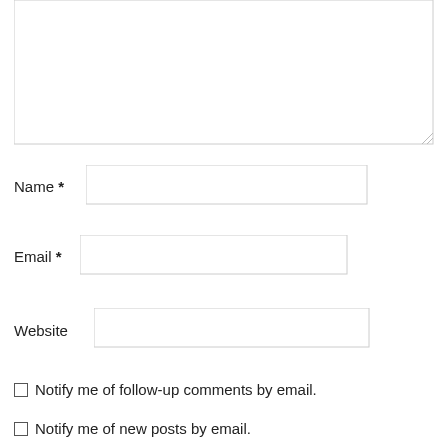[Figure (screenshot): Textarea input box (comment field), empty, with resize handle at bottom-right]
Name *
[Figure (screenshot): Text input box for Name field, empty]
Email *
[Figure (screenshot): Text input box for Email field, empty]
Website
[Figure (screenshot): Text input box for Website field, empty]
Notify me of follow-up comments by email.
Notify me of new posts by email.